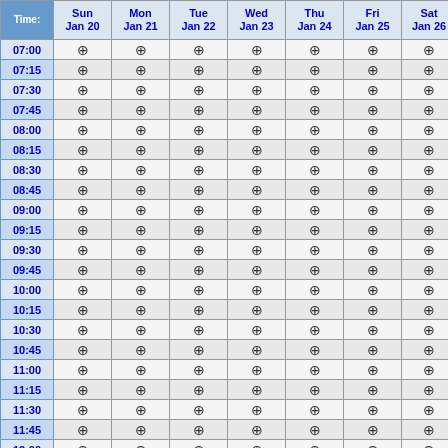| Time: | Sun
Jan 20 | Mon
Jan 21 | Tue
Jan 22 | Wed
Jan 23 | Thu
Jan 24 | Fri
Jan 25 | Sat
Jan 26 |
| --- | --- | --- | --- | --- | --- | --- | --- |
| 07:00 | ⊕ | ⊕ | ⊕ | ⊕ | ⊕ | ⊕ | ⊕ |
| 07:15 | ⊕ | ⊕ | ⊕ | ⊕ | ⊕ | ⊕ | ⊕ |
| 07:30 | ⊕ | ⊕ | ⊕ | ⊕ | ⊕ | ⊕ | ⊕ |
| 07:45 | ⊕ | ⊕ | ⊕ | ⊕ | ⊕ | ⊕ | ⊕ |
| 08:00 | ⊕ | ⊕ | ⊕ | ⊕ | ⊕ | ⊕ | ⊕ |
| 08:15 | ⊕ | ⊕ | ⊕ | ⊕ | ⊕ | ⊕ | ⊕ |
| 08:30 | ⊕ | ⊕ | ⊕ | ⊕ | ⊕ | ⊕ | ⊕ |
| 08:45 | ⊕ | ⊕ | ⊕ | ⊕ | ⊕ | ⊕ | ⊕ |
| 09:00 | ⊕ | ⊕ | ⊕ | ⊕ | ⊕ | ⊕ | ⊕ |
| 09:15 | ⊕ | ⊕ | ⊕ | ⊕ | ⊕ | ⊕ | ⊕ |
| 09:30 | ⊕ | ⊕ | ⊕ | ⊕ | ⊕ | ⊕ | ⊕ |
| 09:45 | ⊕ | ⊕ | ⊕ | ⊕ | ⊕ | ⊕ | ⊕ |
| 10:00 | ⊕ | ⊕ | ⊕ | ⊕ | ⊕ | ⊕ | ⊕ |
| 10:15 | ⊕ | ⊕ | ⊕ | ⊕ | ⊕ | ⊕ | ⊕ |
| 10:30 | ⊕ | ⊕ | ⊕ | ⊕ | ⊕ | ⊕ | ⊕ |
| 10:45 | ⊕ | ⊕ | ⊕ | ⊕ | ⊕ | ⊕ | ⊕ |
| 11:00 | ⊕ | ⊕ | ⊕ | ⊕ | ⊕ | ⊕ | ⊕ |
| 11:15 | ⊕ | ⊕ | ⊕ | ⊕ | ⊕ | ⊕ | ⊕ |
| 11:30 | ⊕ | ⊕ | ⊕ | ⊕ | ⊕ | ⊕ | ⊕ |
| 11:45 | ⊕ | ⊕ | ⊕ | ⊕ | ⊕ | ⊕ | ⊕ |
| 12:00 | ⊕ | ⊕ | ⊕ | ⊕ | ⊕ | ⊕ | ⊕ |
| 12:15 | ⊕ | ⊕ | ⊕ | ⊕ | ⊕ | ⊕ | ⊕ |